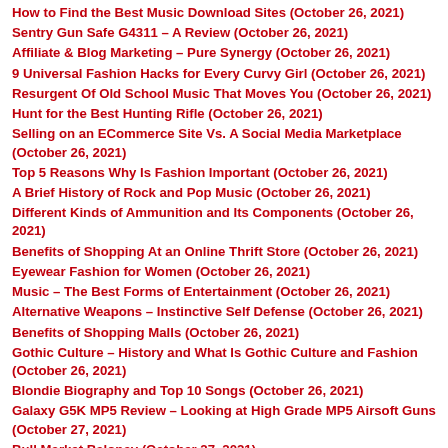How to Find the Best Music Download Sites (October 26, 2021)
Sentry Gun Safe G4311 – A Review (October 26, 2021)
Affiliate & Blog Marketing – Pure Synergy (October 26, 2021)
9 Universal Fashion Hacks for Every Curvy Girl (October 26, 2021)
Resurgent Of Old School Music That Moves You (October 26, 2021)
Hunt for the Best Hunting Rifle (October 26, 2021)
Selling on an ECommerce Site Vs. A Social Media Marketplace (October 26, 2021)
Top 5 Reasons Why Is Fashion Important (October 26, 2021)
A Brief History of Rock and Pop Music (October 26, 2021)
Different Kinds of Ammunition and Its Components (October 26, 2021)
Benefits of Shopping At an Online Thrift Store (October 26, 2021)
Eyewear Fashion for Women (October 26, 2021)
Music – The Best Forms of Entertainment (October 26, 2021)
Alternative Weapons – Instinctive Self Defense (October 26, 2021)
Benefits of Shopping Malls (October 26, 2021)
Gothic Culture – History and What Is Gothic Culture and Fashion (October 26, 2021)
Blondie Biography and Top 10 Songs (October 26, 2021)
Galaxy G5K MP5 Review – Looking at High Grade MP5 Airsoft Guns (October 27, 2021)
Bull Market Baloney (October 27, 2021)